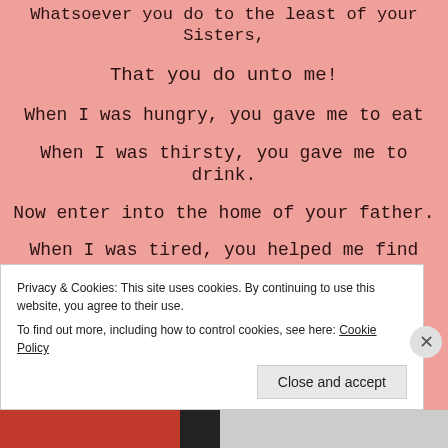Whatsoever you do to the least of your Sisters,
That you do unto me!
When I was hungry, you gave me to eat
When I was thirsty, you gave me to drink.
Now enter into the home of your father.
When I was tired, you helped me find rest.
When I was worried you calmed all my fears.
Privacy & Cookies: This site uses cookies. By continuing to use this website, you agree to their use. To find out more, including how to control cookies, see here: Cookie Policy
Close and accept